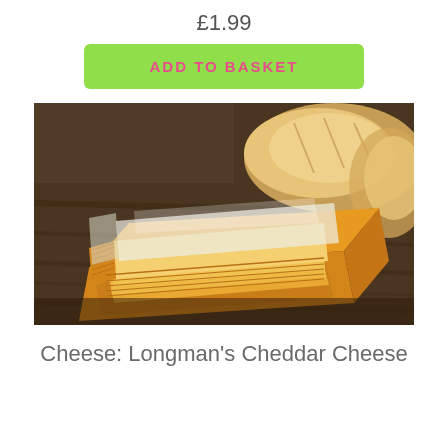£1.99
ADD TO BASKET
[Figure (photo): Stack of sliced cheddar cheese wrapped in plastic packaging, with pieces of bread/baguette in the background on a wooden surface.]
Cheese: Longman's Cheddar Cheese